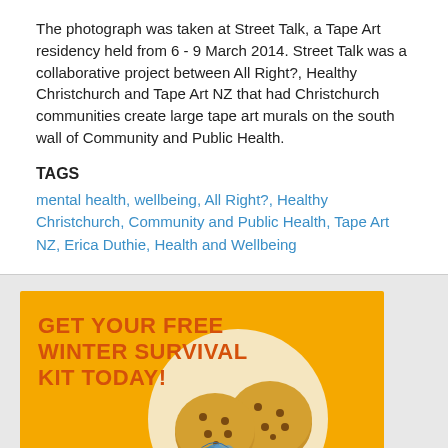The photograph was taken at Street Talk, a Tape Art residency held from 6 - 9 March 2014. Street Talk was a collaborative project between All Right?, Healthy Christchurch and Tape Art NZ that had Christchurch communities create large tape art murals on the south wall of Community and Public Health.
TAGS
mental health, wellbeing, All Right?, Healthy Christchurch, Community and Public Health, Tape Art NZ, Erica Duthie, Health and Wellbeing
[Figure (illustration): Yellow advertisement banner with orange bold text reading 'GET YOUR FREE WINTER SURVIVAL KIT TODAY!' with a circular cream background and illustrated cookies/biscuits at the bottom.]